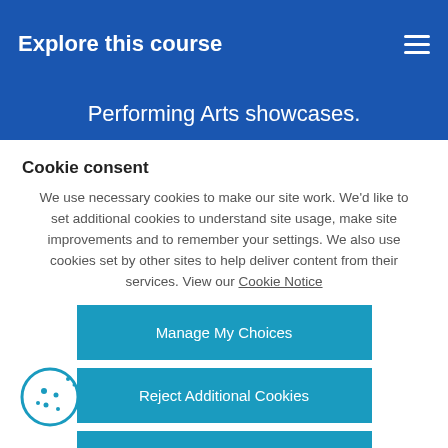Explore this course
Performing Arts showcases.
Cookie consent
We use necessary cookies to make our site work. We'd like to set additional cookies to understand site usage, make site improvements and to remember your settings. We also use cookies set by other sites to help deliver content from their services. View our Cookie Notice
Manage My Choices
Reject Additional Cookies
Accept Additional Cookies
[Figure (illustration): Cookie icon — circle with cookie/bite shape and dots]